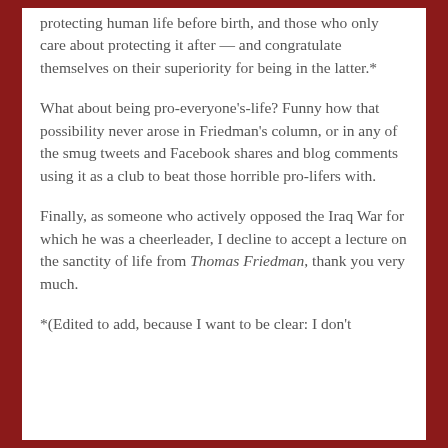protecting human life before birth, and those who only care about protecting it after — and congratulate themselves on their superiority for being in the latter.*
What about being pro-everyone's-life? Funny how that possibility never arose in Friedman's column, or in any of the smug tweets and Facebook shares and blog comments using it as a club to beat those horrible pro-lifers with.
Finally, as someone who actively opposed the Iraq War for which he was a cheerleader, I decline to accept a lecture on the sanctity of life from Thomas Friedman, thank you very much.
*(Edited to add, because I want to be clear: I don't